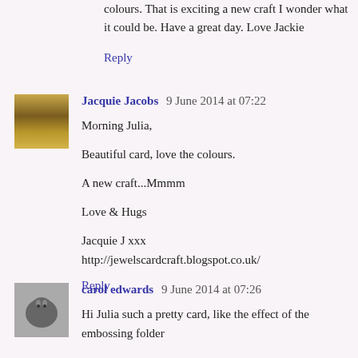colours. That is exciting a new craft I wonder what it could be. Have a great day. Love Jackie
Reply
Jacquie Jacobs 9 June 2014 at 07:22
Morning Julia,

Beautiful card, love the colours.

A new craft...Mmmm

Love & Hugs

Jacquie J xxx
http://jewelscardcraft.blogspot.co.uk/
Reply
carol edwards 9 June 2014 at 07:26
Hi Julia such a pretty card, like the effect of the embossing folder